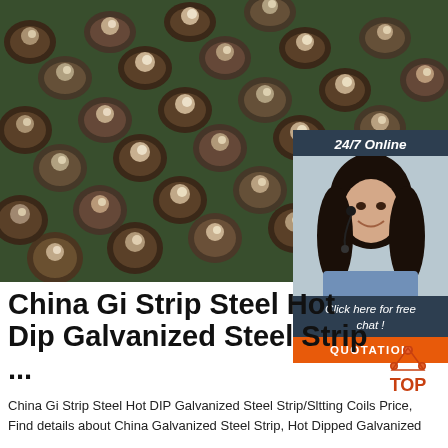[Figure (photo): Rows of steel rods/bars arranged diagonally on a green surface, viewed from the end showing circular cross-sections]
[Figure (photo): 24/7 Online customer service sidebar showing a smiling woman with headset, 'Click here for free chat!' text, and orange QUOTATION button]
China Gi Strip Steel Hot Dip Galvanized Steel Strip ...
[Figure (logo): TOP logo with orange triangle/dots icon above the word TOP in orange/red text]
China Gi Strip Steel Hot DIP Galvanized Steel Strip/Sltting Coils Price, Find details about China Galvanized Steel Strip, Hot Dipped Galvanized